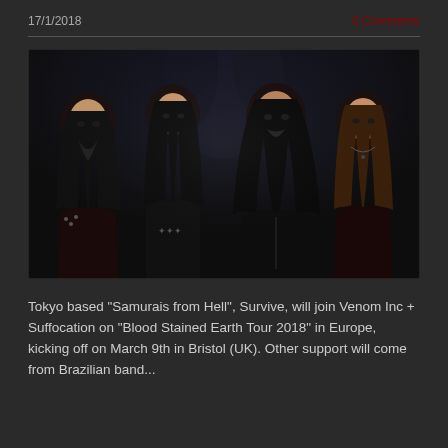17/1/2018   0 Comments
[Figure (photo): Four members of the Japanese metal band Survive posing in dark clothing against a dark background. Four people with long black hair wearing metal/gothic style outfits.]
Tokyo based "Samurais from Hell", Survive, will join Venom Inc + Suffocation on "Blood Stained Earth Tour 2018" in Europe, kicking off on March 9th in Bristol (UK). Other support will come from Brazilian band...